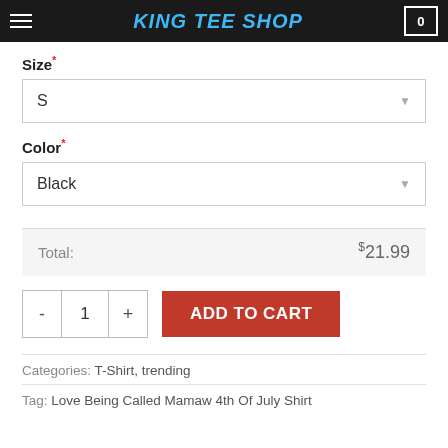KING TEE SHOP
Size*
S
Color*
Black
Total: $21.99
- 1 + ADD TO CART
Categories: T-Shirt, trending
Tag: Love Being Called Mamaw 4th Of July Shirt